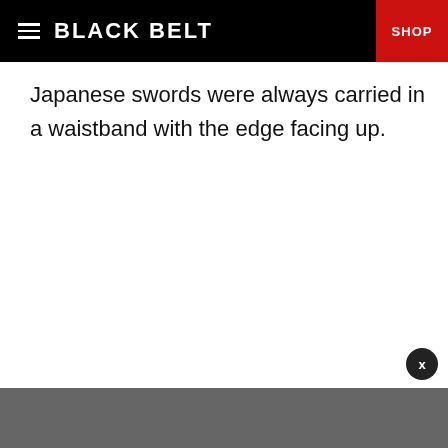BLACK BELT | SHOP
Japanese swords were always carried in a waistband with the edge facing up.